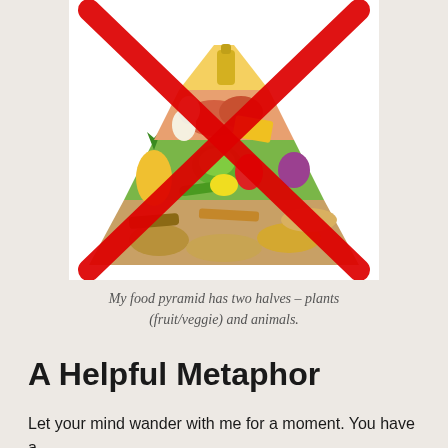[Figure (illustration): A food pyramid illustration showing various food groups (grains at the base, fruits and vegetables in the middle, meats and dairy above, and oils/fats at the top), overlaid with a large red X crossing out the pyramid.]
My food pyramid has two halves – plants (fruit/veggie) and animals.
A Helpful Metaphor
Let your mind wander with me for a moment. You have a